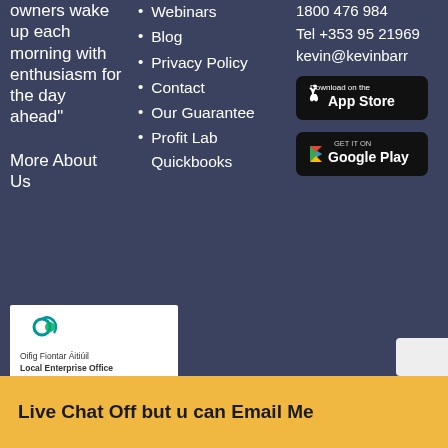owners wake up each morning with enthusiasm for the day ahead”
Webinars
Blog
Privacy Policy
Contact
Our Guarantee
Profit Lab Quickbooks
1800 476 984
Tel +353 95 21969
kevin@kevinbarr
[Figure (other): Download on the App Store button (black rounded rectangle with Apple logo)]
[Figure (other): Get it on Google Play button (black rounded rectangle with Google Play logo)]
More About Us
[Figure (logo): Local Enterprise Office Galway logo - white background with teal/green spiral icon, text: Oifig Fiontar Áitiúil / Local Enterprise Office / Gaillimh - Galway]
Live Chat Off but u can Email Me